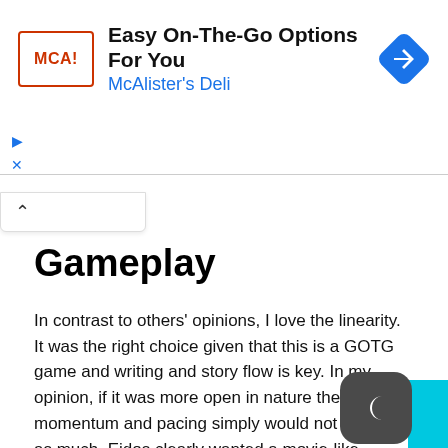[Figure (screenshot): Advertisement banner for McAlister's Deli reading 'Easy On-The-Go Options For You' with logo and navigation arrow icon]
Gameplay
In contrast to others' opinions, I love the linearity. It was the right choice given that this is a GOTG game and writing and story flow is key. In my opinion, if it was more open in nature the momentum and pacing simply would not be there as much. Eidos clearly wanted a movie-like experience and open-world gameplay, with occasional narrative moments akin to something like Far Cry, would detract from this.
Dialogue doesn't really have any serious game-impact implications, however, it does lead you down different paths